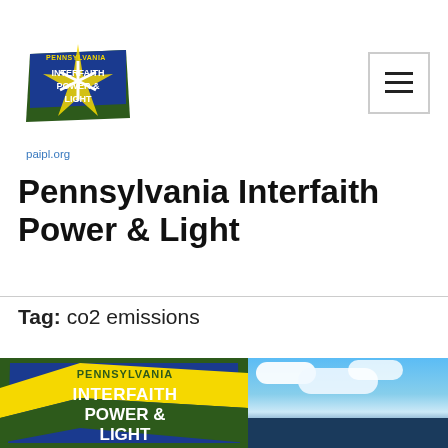[Figure (logo): Pennsylvania Interfaith Power & Light logo with paipl.org URL]
Pennsylvania Interfaith Power & Light
Tag: co2 emissions
[Figure (logo): Pennsylvania Interfaith Power & Light large logo (green, blue, yellow)]
[Figure (photo): City skyline with blue sky and white clouds]